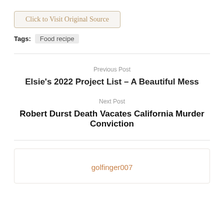Click to Visit Original Source
Tags: Food recipe
Previous Post
Elsie’s 2022 Project List – A Beautiful Mess
Next Post
Robert Durst Death Vacates California Murder Conviction
golfinger007